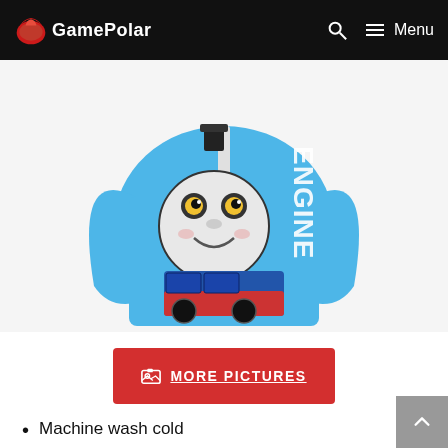GamePolar | Menu
[Figure (photo): Blue Thomas the Tank Engine long sleeve children's shirt with 'ENGINE' text on the sleeve and Thomas's face on the front]
MORE PICTURES
Machine wash cold
High density screenprint design with contrast